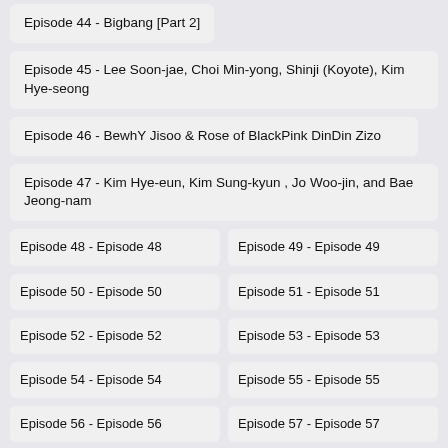Episode 44 - Bigbang [Part 2]
Episode 45 - Lee Soon-jae, Choi Min-yong, Shinji (Koyote), Kim Hye-seong
Episode 46 - BewhY Jisoo & Rose of BlackPink DinDin Zizo
Episode 47 - Kim Hye-eun, Kim Sung-kyun , Jo Woo-jin, and Bae Jeong-nam
Episode 48 - Episode 48
Episode 49 - Episode 49
Episode 50 - Episode 50
Episode 51 - Episode 51
Episode 52 - Episode 52
Episode 53 - Episode 53
Episode 54 - Episode 54
Episode 55 - Episode 55
Episode 56 - Episode 56
Episode 57 - Episode 57
Episode 58 - Episode 58
Episode 59 - Episode 59